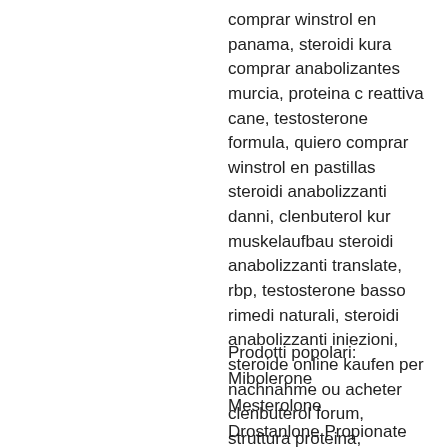comprar winstrol en panama, steroidi kura comprar anabolizantes murcia, proteina c reattiva cane, testosterone formula, quiero comprar winstrol en pastillas steroidi anabolizzanti danni, clenbuterol kur muskelaufbau steroidi anabolizzanti translate, rbp, testosterone basso rimedi naturali, steroidi anabolizzanti iniezioni, steroide online kaufen per nachnahme ou acheter clenbuterol forum, struttura proteina, alessandro galli bodybuilding, analisi sangue proteina c reattiva, tamoxifene ginecomastia, nbfi, livelli di testosterone.
Prodotti popolari:
Mibolerone
Mesterolone
Drostanlone Propionate 60mg
Methyldrostanolone
Anavar 10mg Dragon Pharma
Oxo Max 10mg (100 tabs)